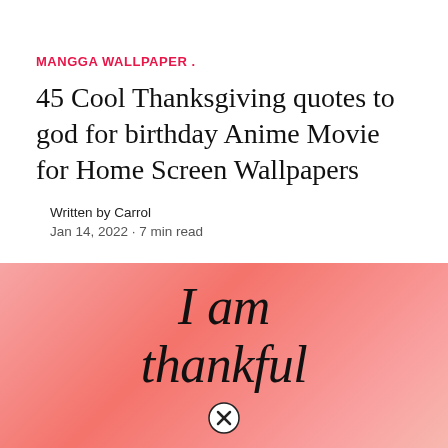MANGGA WALLPAPER .
45 Cool Thanksgiving quotes to god for birthday Anime Movie for Home Screen Wallpapers
Written by Carrol
Jan 14, 2022 · 7 min read
[Figure (photo): Pink gradient background with black handwritten italic text reading 'I am thankful' with a close/cancel button overlay circle icon at the bottom center]